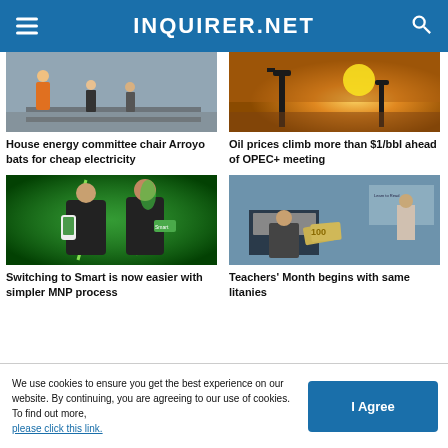INQUIRER.NET
[Figure (photo): Workers on a railway/infrastructure site]
House energy committee chair Arroyo bats for cheap electricity
[Figure (photo): Oil pump silhouettes at sunset]
Oil prices climb more than $1/bbl ahead of OPEC+ meeting
[Figure (photo): Two women posing with Smart phones in green electric background]
Switching to Smart is now easier with simpler MNP process
[Figure (photo): Person at computer holding Philippine money, Learn to Read banner in background]
Teachers' Month begins with same litanies
We use cookies to ensure you get the best experience on our website. By continuing, you are agreeing to our use of cookies. To find out more, please click this link.